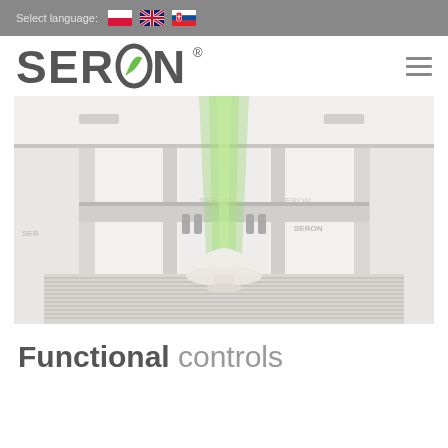Select language:
[Figure (logo): SERON company logo with green leaf replacing the letter O]
[Figure (photo): CNC milling machine interior showing a white bowl-shaped workpiece on a grooved aluminum worktable, with SERON branding on white machine panels and a green laser/spindle light visible from above]
Functional controls